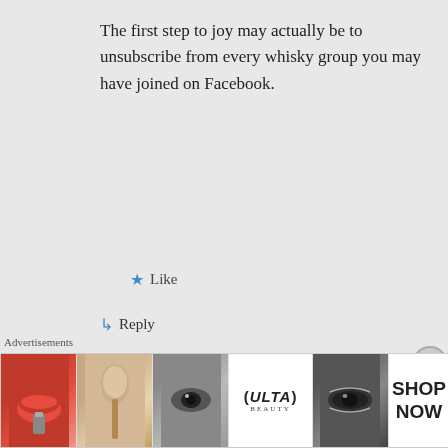The first step to joy may actually be to unsubscribe from every whisky group you may have joined on Facebook.
★ Like
↳ Reply
Ol' Jas on August 9, 2017, 16:04 at 4:04 pm
Advertisements
[Figure (screenshot): Advertisement banner for ULTA beauty products showing cosmetic images and 'SHOP NOW' text]